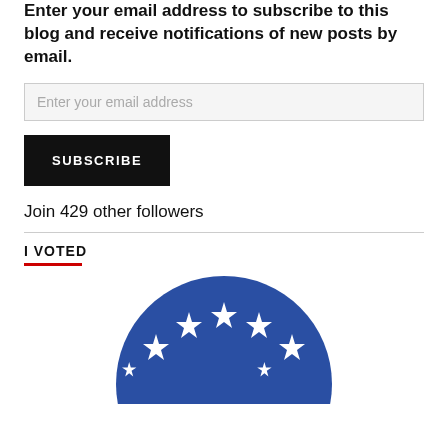Enter your email address to subscribe to this blog and receive notifications of new posts by email.
Enter your email address
SUBSCRIBE
Join 429 other followers
I VOTED
[Figure (illustration): Circular 'I Voted' badge with blue background, white stars arranged in an arc, and red and white striped lower section, cropped at bottom of page]